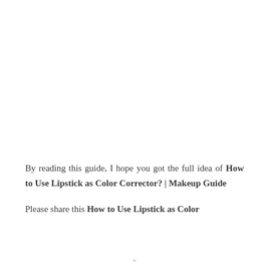By reading this guide, I hope you got the full idea of How to Use Lipstick as Color Corrector? | Makeup Guide
Please share this How to Use Lipstick as Color